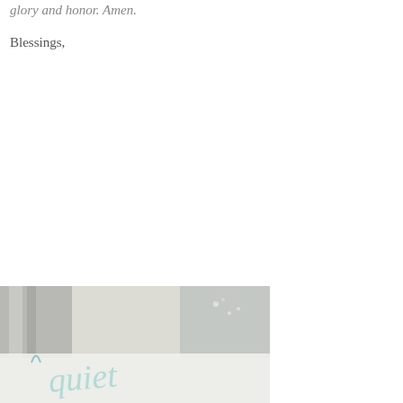glory and honor. Amen.
Blessings,
Samantha Krieger
[Figure (photo): Decorative photo with soft colors, appears to show a book or journal with cursive text overlay reading 'quiet']